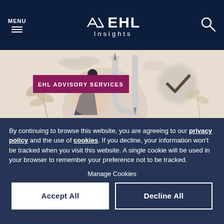MENU | EHL Insights
[Figure (illustration): EHL Advisory Services banner illustration showing a woman thinking, with a U-turn arrow and a checkmark circle, plants in background, on a beige/tan background. Purple label reads 'EHL ADVISORY SERVICES'.]
By continuing to browse this website, you are agreeing to our privacy policy and the use of cookies. If you decline, your information won't be tracked when you visit this website. A single cookie will be used in your browser to remember your preference not to be tracked.
Manage Cookies
Accept All
Decline All